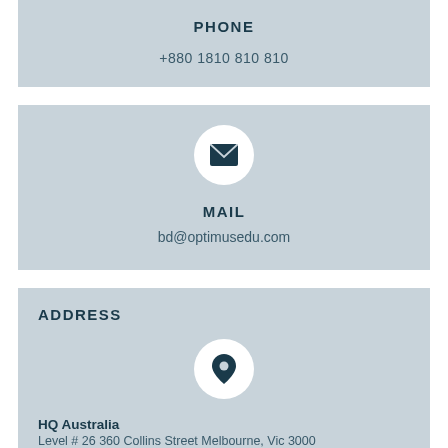PHONE
+880 1810 810 810
[Figure (illustration): White circle with dark envelope/mail icon inside]
MAIL
bd@optimusedu.com
ADDRESS
[Figure (illustration): White circle with dark map pin/location icon inside]
HQ Australia
Level # 26 360 Collins Street Melbourne, Vic 3000